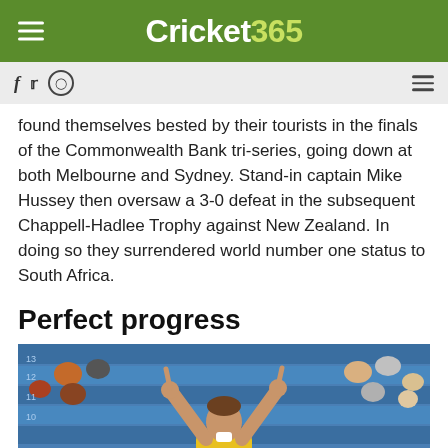Cricket 365
found themselves bested by their tourists in the finals of the Commonwealth Bank tri-series, going down at both Melbourne and Sydney. Stand-in captain Mike Hussey then oversaw a 3-0 defeat in the subsequent Chappell-Hadlee Trophy against New Zealand. In doing so they surrendered world number one status to South Africa.
Perfect progress
[Figure (photo): Cricket player in yellow jersey celebrating with both arms raised, pointing upward, in front of blue stadium seats with spectators]